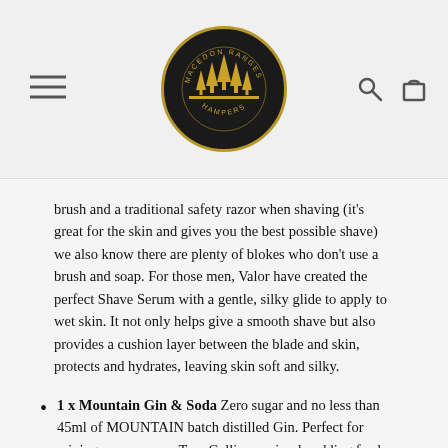Macedon Ranges Hampers — navigation header with logo, hamburger menu, search and cart icons
brush and a traditional safety razor when shaving (it's great for the skin and gives you the best possible shave) we also know there are plenty of blokes who don't use a brush and soap. For those men, Valor have created the perfect Shave Serum with a gentle, silky glide to apply to wet skin. It not only helps give a smooth shave but also provides a cushion layer between the blade and skin, protects and hydrates, leaving skin soft and silky.
1 x Mountain Gin & Soda Zero sugar and no less than 45ml of MOUNTAIN batch distilled Gin. Perfect for mixing up your own Tom Collins or simply adding fresh fruit to the mix.